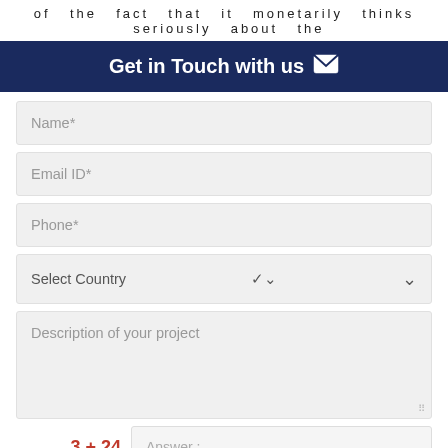of the fact that it monetarily thinks seriously about the
Get in Touch with us
Name*
Email ID*
Phone*
Select Country
Description of your project
3 + 24
Answer :
SUBMIT